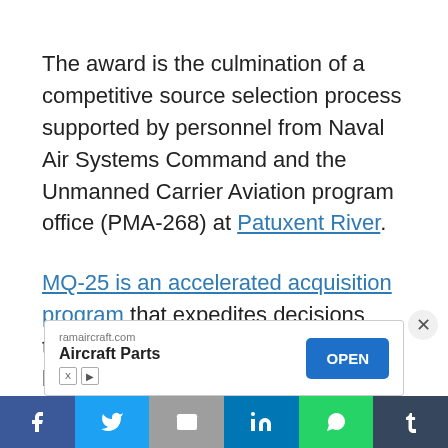The award is the culmination of a competitive source selection process supported by personnel from Naval Air Systems Command and the Unmanned Carrier Aviation program office (PMA-268) at Patuxent River.
MQ-25 is an accelerated acquisition program that expedites decisions that will enable rapid actions with less overhead. The intent is to significantly [continues below fold]
[Figure (other): Advertisement banner for ramaircraft.com Aircraft Parts with an OPEN button]